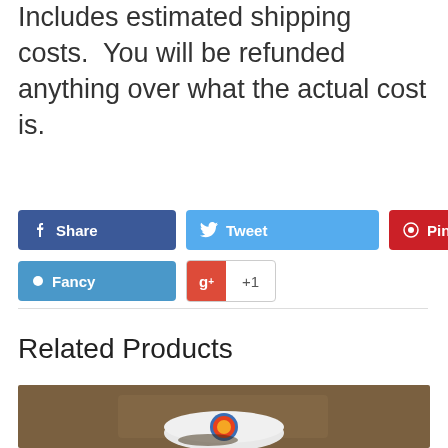Includes estimated shipping costs.  You will be refunded anything over what the actual cost is.
[Figure (screenshot): Social sharing buttons: Share (Facebook, blue), Tweet (Twitter, light blue), Pin it (Pinterest, red), Fancy (blue), Google+ +1 button]
Related Products
[Figure (photo): Product photo showing a white hockey puck with a colorful round logo on top, on a brown background]